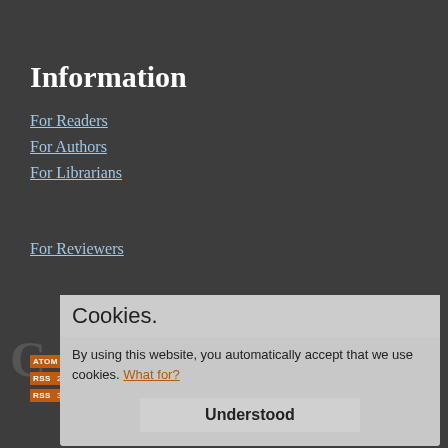Information
For Readers
For Authors
For Librarians
For Reviewers
Cookies.
By using this website, you automatically accept that we use cookies. What for?
Understood